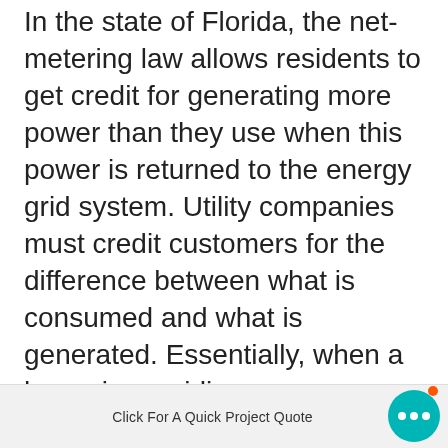In the state of Florida, the net-metering law allows residents to get credit for generating more power than they use when this power is returned to the energy grid system. Utility companies must credit customers for the difference between what is consumed and what is generated. Essentially, when a home is providing energy instead of consuming it (overall, or in net), then that home should be credited just as it would be charged if it was consuming more than it provided (which is the case in most homes). When solar panels are installed, the home is still hooked up to electricity, but in many months the home gener... than the residents can even use!